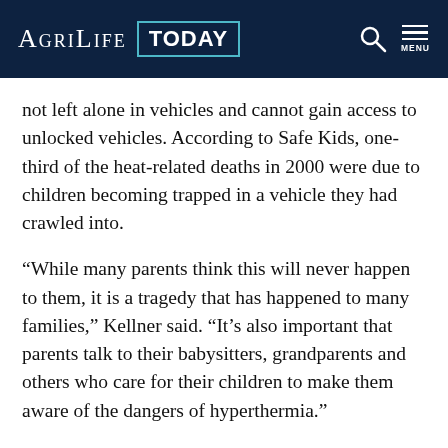AgriLife TODAY
not left alone in vehicles and cannot gain access to unlocked vehicles. According to Safe Kids, one-third of the heat-related deaths in 2000 were due to children becoming trapped in a vehicle they had crawled into.
“While many parents think this will never happen to them, it is a tragedy that has happened to many families,” Kellner said. “It’s also important that parents talk to their babysitters, grandparents and others who care for their children to make them aware of the dangers of hyperthermia.”